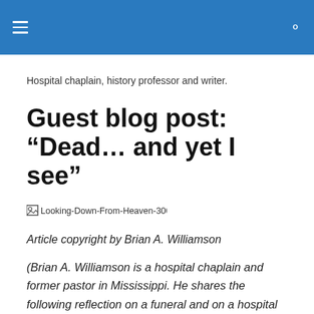Hospital chaplain, history professor and writer.
Guest blog post: “Dead… and yet I see”
[Figure (photo): Broken image placeholder labeled Looking-Down-From-Heaven-300x300]
Article copyright by Brian A. Williamson
(Brian A. Williamson is a hospital chaplain and former pastor in Mississippi. He shares the following reflection on a funeral and on a hospital visit he made with a dying